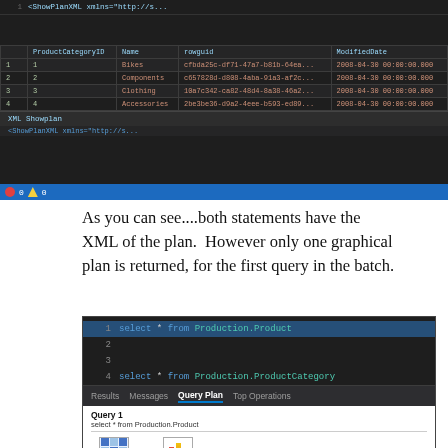[Figure (screenshot): SQL Server Management Studio screenshot showing results of XML ShowPlan query with a results table containing ProductCategoryID, Name, rowguid, ModifiedDate columns with 4 rows (Bikes, Components, Clothing, Accessories), followed by XML Showplan tab and partial code row, with blue status bar at bottom showing 0 errors 0 warnings.]
As you can see....both statements have the XML of the plan.  However only one graphical plan is returned, for the first query in the batch.
[Figure (screenshot): SQL Server Management Studio screenshot showing two SQL queries: 'select * from Production.Product' on line 1 (highlighted) and 'select * from Production.ProductCategory' on line 4, with Query Plan tab selected in the results pane showing 'Query 1 select * from Production.Product' and a partial graphical plan icon.]